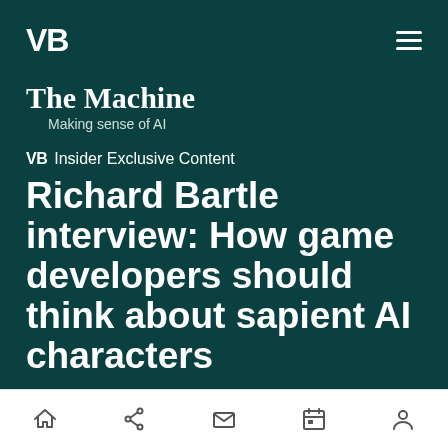VB
The Machine
Making sense of AI
VB Insider Exclusive Content
Richard Bartle interview: How game developers should think about sapient AI characters
Dean Takahashi
@deantak